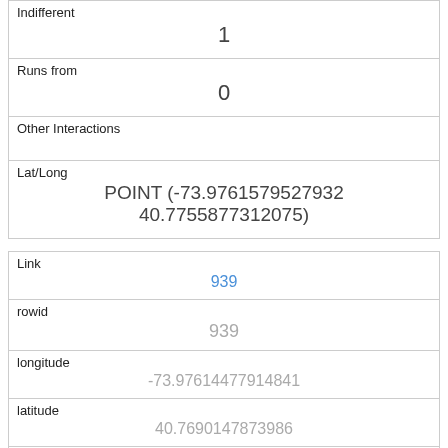| Indifferent | 1 |
| Runs from | 0 |
| Other Interactions |  |
| Lat/Long | POINT (-73.9761579527932 40.7755877312075) |
| Link | 939 |
| rowid | 939 |
| longitude | -73.97614477914841 |
| latitude | 40.7690147873986 |
| Unique Squirrel ID | 4D-PM-1008-02 |
| Hectare | 04D |